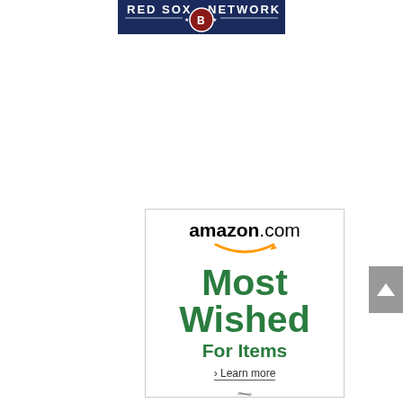[Figure (logo): Red Sox Network banner logo with text 'RED SOX NETWORK' on a dark blue background with a baseball team crest in the center]
[Figure (infographic): Amazon.com advertisement showing the Amazon logo with smile arrow, large green text reading 'Most Wished For Items', a 'Learn more' link, and what appears to be scissors at the bottom]